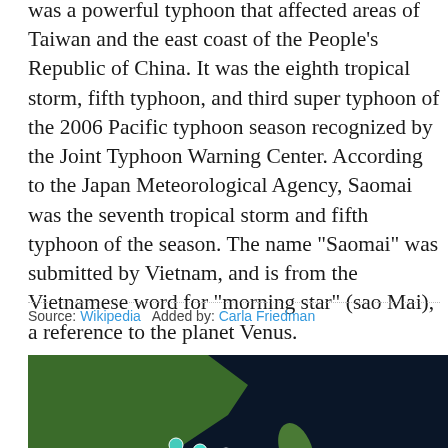was a powerful typhoon that affected areas of Taiwan and the east coast of the People's Republic of China. It was the eighth tropical storm, fifth typhoon, and third super typhoon of the 2006 Pacific typhoon season recognized by the Joint Typhoon Warning Center. According to the Japan Meteorological Agency, Saomai was the seventh tropical storm and fifth typhoon of the season. The name "Saomai" was submitted by Vietnam, and is from the Vietnamese word for "morning star" (sao Mai), a reference to the planet Venus.
Source: Wikipedia   Added by: Carla Friedman
[Figure (map): Satellite/topographic map showing the track of Typhoon Saomai across the western Pacific Ocean. The storm track is shown as a dotted line with colored circles indicating storm intensity, moving from the east (lower right) through the Pacific toward Taiwan and mainland China (upper left). Colors transition from cyan/blue to white to pink/red to orange to yellow along the track.]